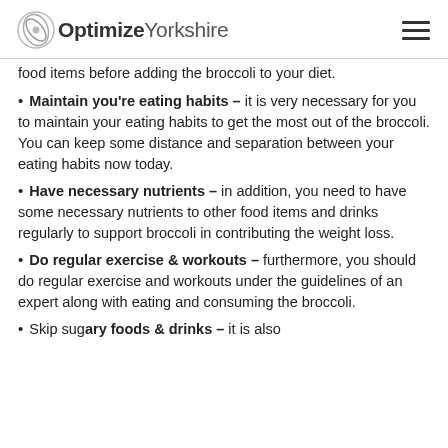OptimizeYorkshire
food items before adding the broccoli to your diet.
Maintain you're eating habits – it is very necessary for you to maintain your eating habits to get the most out of the broccoli. You can keep some distance and separation between your eating habits now today.
Have necessary nutrients – in addition, you need to have some necessary nutrients to other food items and drinks regularly to support broccoli in contributing the weight loss.
Do regular exercise & workouts – furthermore, you should do regular exercise and workouts under the guidelines of an expert along with eating and consuming the broccoli.
Skip sugary foods & drinks – it is also